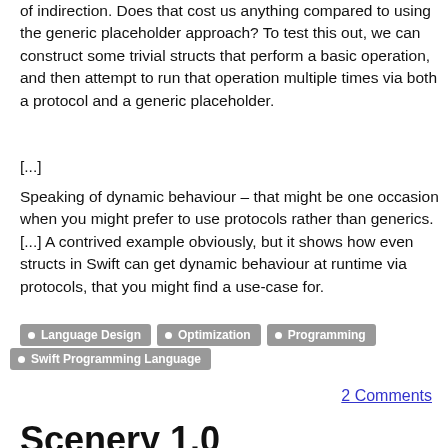of indirection. Does that cost us anything compared to using the generic placeholder approach? To test this out, we can construct some trivial structs that perform a basic operation, and then attempt to run that operation multiple times via both a protocol and a generic placeholder.
[...]
Speaking of dynamic behaviour – that might be one occasion when you might prefer to use protocols rather than generics. [...] A contrived example obviously, but it shows how even structs in Swift can get dynamic behaviour at runtime via protocols, that you might find a use-case for.
Language Design
Optimization
Programming
Swift Programming Language
2 Comments
Scenery 1.0